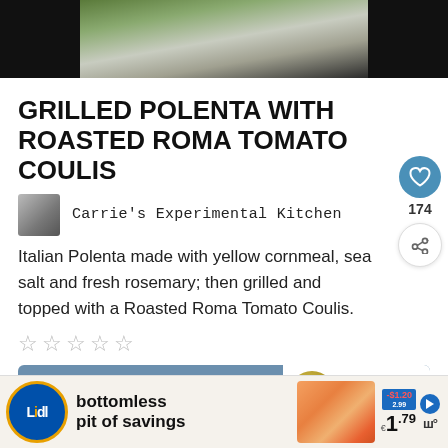[Figure (photo): Top portion of a food photo showing green herb (rosemary) on a dark background]
GRILLED POLENTA WITH ROASTED ROMA TOMATO COULIS
Carrie's Experimental Kitchen
Italian Polenta made with yellow cornmeal, sea salt and fresh rosemary; then grilled and topped with a Roasted Roma Tomato Coulis.
☆☆☆☆☆
174
Print Recipe
WHAT'S NEXT → Roasted Tomato,...
[Figure (photo): Lidl advertisement: bottomless pit of savings, £1.79, showing peaches]
bottomless pit of savings €1.79